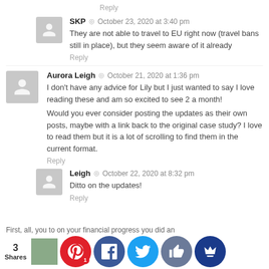Reply
SKP  ·  October 23, 2020 at 3:40 pm
They are not able to travel to EU right now (travel bans still in place), but they seem aware of it already
Reply
Aurora Leigh  ·  October 21, 2020 at 1:36 pm
I don't have any advice for Lily but I just wanted to say I love reading these and am so excited to see 2 a month!
Would you ever consider posting the updates as their own posts, maybe with a link back to the original case study? I love to read them but it is a lot of scrolling to find them in the current format.
Reply
Leigh  ·  October 22, 2020 at 8:32 pm
Ditto on the updates!
Reply
3 Shares
First, all, you to on your financial progress you did an